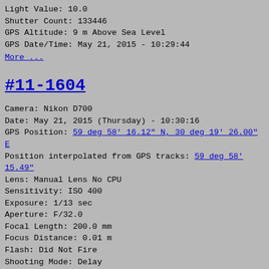Light Value: 10.0
Shutter Count: 133446
GPS Altitude: 9 m Above Sea Level
GPS Date/Time: May 21, 2015 - 10:29:44
More ...
#11-1604
Camera: Nikon D700
Date: May 21, 2015 (Thursday) - 10:30:16
GPS Position: 59 deg 58' 16.12" N, 30 deg 19' 26.00" E
Position interpolated from GPS tracks: 59 deg 58' 15.49"
Lens: Manual Lens No CPU
Sensitivity: ISO 400
Exposure: 1/13 sec
Aperture: F/32.0
Focal Length: 200.0 mm
Focus Distance: 0.01 m
Flash: Did Not Fire
Shooting Mode: Delay
Metering Mode: Multi-segment
Focus Mode: Manual
Exposure Program: Aperture-priority AE
Exposure Compensation: 0
Light Value: 11.7
Shutter Count: 133448
GPS Altitude: 9 m Above Sea Level
GPS Date/Time: May 21, 2015 - 10:30:14